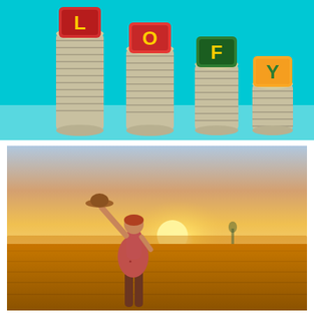[Figure (photo): Four stacks of coins in descending height from left to right, each topped with a colorful alphabet block letter: red 'L', red/orange 'O', green 'F', yellow 'Y', on a teal/cyan background]
[Figure (photo): A woman in a floral dress standing in a golden wheat field at sunset, holding up a straw hat with one arm raised toward the bright sun on the horizon]